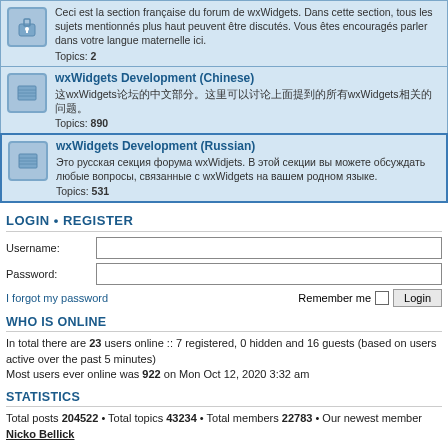Ceci est la section française du forum de wxWidgets. Dans cette section, tous les sujets mentionnés plus haut peuvent être discutés. Vous êtes encouragés parler dans votre langue maternelle ici. Topics: 2
wxWidgets Development (Chinese)
Topics: 890
wxWidgets Development (Russian)
Это русская секция форума wxWidjets. В этой секции вы можете обсуждать любые вопросы, связанные с wxWidgets на вашем родном языке. Topics: 531
LOGIN • REGISTER
Username:
Password:
I forgot my password
Remember me
WHO IS ONLINE
In total there are 23 users online :: 7 registered, 0 hidden and 16 guests (based on users active over the past 5 minutes)
Most users ever online was 922 on Mon Oct 12, 2020 3:32 am
STATISTICS
Total posts 204522 • Total topics 43234 • Total members 22783 • Our newest member Nicko Bellick